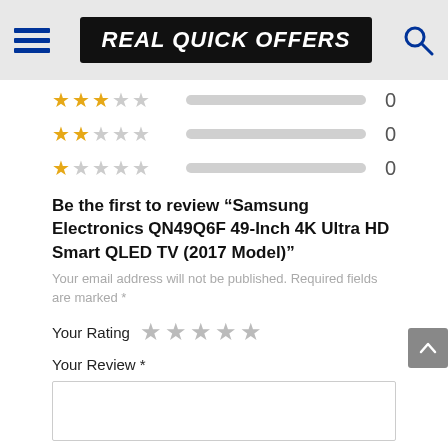REAL QUICK OFFERS
[Figure (other): 3-star rating row with empty progress bar showing count 0]
[Figure (other): 2-star rating row with empty progress bar showing count 0]
[Figure (other): 1-star rating row with empty progress bar showing count 0]
Be the first to review “Samsung Electronics QN49Q6F 49-Inch 4K Ultra HD Smart QLED TV (2017 Model)”
Your email address will not be published. Required fields are marked *
Your Rating
Your Review *